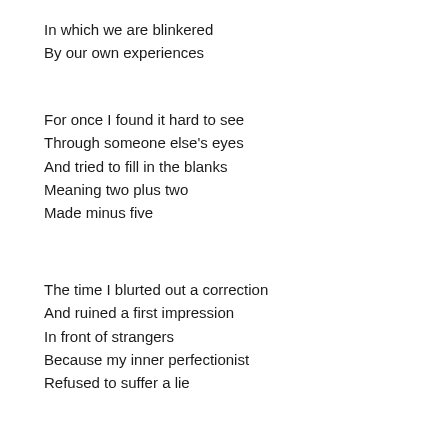In which we are blinkered
By our own experiences
For once I found it hard to see
Through someone else's eyes
And tried to fill in the blanks
Meaning two plus two
Made minus five
The time I blurted out a correction
And ruined a first impression
In front of strangers
Because my inner perfectionist
Refused to suffer a lie